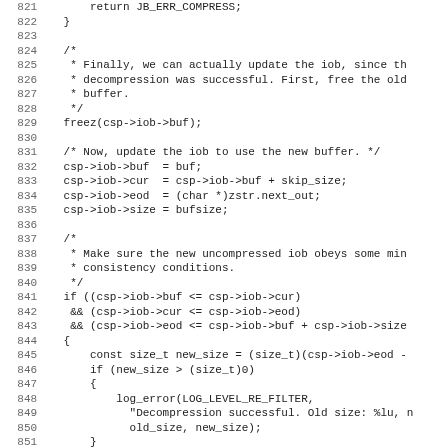[Figure (other): Source code listing (C language), lines 821–852, showing decompression buffer update logic with freez(), iob field assignments, and conditional consistency checks.]